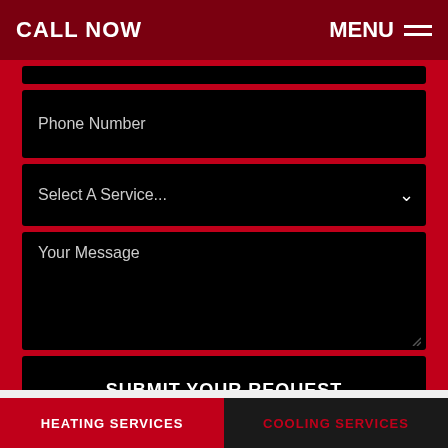CALL NOW  MENU
Phone Number
Select A Service...
Your Message
SUBMIT YOUR REQUEST
HEATING SERVICES  COOLING SERVICES